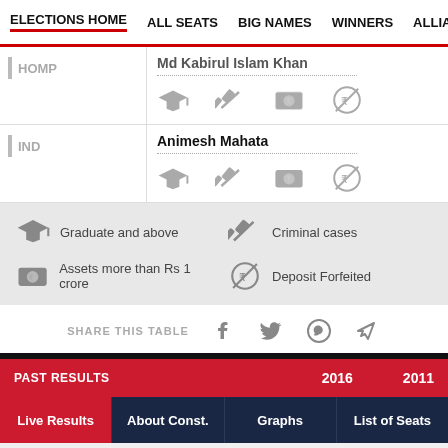ELECTIONS HOME | ALL SEATS | BIG NAMES | WINNERS | ALLIANCE
| Party | Candidate | Education | Criminal Cases | Assets | Deposit Forfeited |
| --- | --- | --- | --- | --- | --- |
| HOMP | Md Kabirul Islam Khan |  |  |  |  |
| IND | Animesh Mahata |  |  |  |  |
Graduate and above | Criminal cases | Assets more than Rs 1 crore | Deposit Forfeited
SHARE THIS TABLE
PAST RESULTS | 2016 | 2011
Live Results | About Const. | Graphs | List of Seats